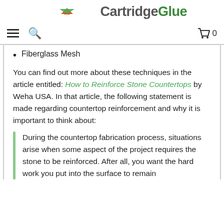CartridgeGlue
Fiberglass Mesh
You can find out more about these techniques in the article entitled: How to Reinforce Stone Countertops by Weha USA. In that article, the following statement is made regarding countertop reinforcement and why it is important to think about:
During the countertop fabrication process, situations arise when some aspect of the project requires the stone to be reinforced. After all, you want the hard work you put into the surface to remain